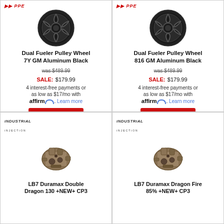[Figure (photo): Black aluminum pulley wheel with spokes - Dual Fueler Pulley Wheel 7Y GM Aluminum Black by PPE Diesel]
Dual Fueler Pulley Wheel 7Y GM Aluminum Black
PPE Diesel
WAS: $489.99
SALE: $179.99
4 interest-free payments or as low as $17/mo with affirm. Learn more
Add to Cart
[Figure (photo): Black aluminum pulley wheel with spokes - Dual Fueler Pulley Wheel 816 GM Aluminum Black by PPE Diesel]
Dual Fueler Pulley Wheel 816 GM Aluminum Black
PPE Diesel
WAS: $489.99
SALE: $179.99
4 interest-free payments or as low as $17/mo with affirm. Learn more
Add to Cart
[Figure (photo): Industrial Injection fuel pump - LB7 Duramax Double Dragon 130]
LB7 Duramax Double Dragon 130 +NEW+ CP3
[Figure (photo): Industrial Injection fuel pump - LB7 Duramax Dragon Fire 85%]
LB7 Duramax Dragon Fire 85% +NEW+ CP3